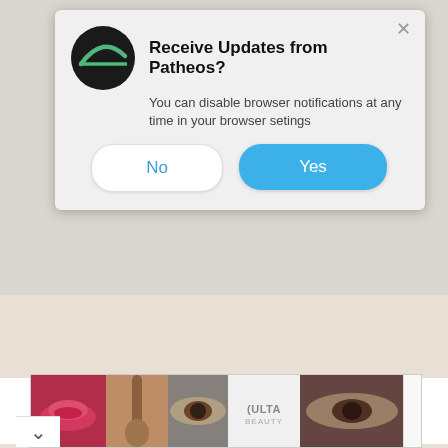[Figure (screenshot): Browser push notification popup from Patheos asking to receive updates. Contains Patheos logo (black circle with green arc), title 'Receive Updates from Patheos?', body text 'You can disable browser notifications at any time in your browser setings', and two buttons: 'No' (white) and 'Yes' (blue). An X close button is in the top right.]
TRENDING AT PATHEOS PROGRESSIVE CHRISTIAN
[Figure (photo): Ulta Beauty advertisement banner showing close-up beauty/makeup photos (lips, brush, eye, Ulta logo, smoky eye) with SHOP NOW text on the right.]